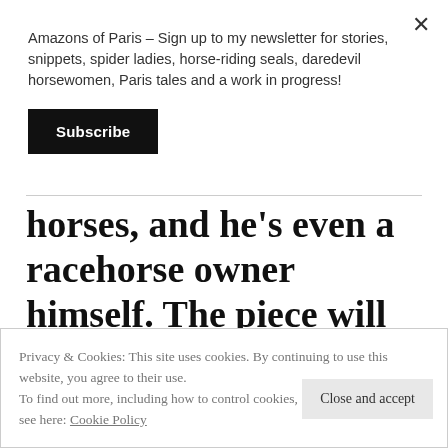Amazons of Paris – Sign up to my newsletter for stories, snippets, spider ladies, horse-riding seals, daredevil horsewomen, Paris tales and a work in progress!
Subscribe
horses, and he's even a racehorse owner himself. The piece will tour internationally, and the artist hopes it
Privacy & Cookies: This site uses cookies. By continuing to use this website, you agree to their use.
To find out more, including how to control cookies, see here: Cookie Policy
Close and accept